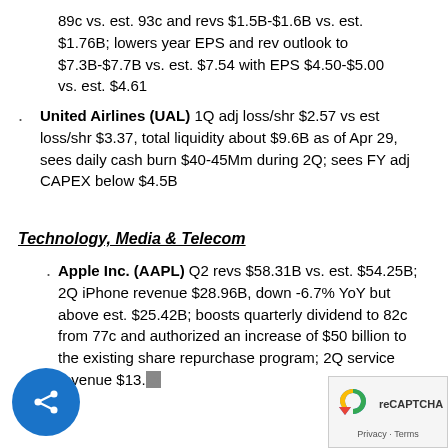89c vs. est. 93c and revs $1.5B-$1.6B vs. est. $1.76B; lowers year EPS and rev outlook to $7.3B-$7.7B vs. est. $7.54 with EPS $4.50-$5.00 vs. est. $4.61
United Airlines (UAL) 1Q adj loss/shr $2.57 vs est loss/shr $3.37, total liquidity about $9.6B as of Apr 29, sees daily cash burn $40-45Mm during 2Q; sees FY adj CAPEX below $4.5B
Technology, Media & Telecom
Apple Inc. (AAPL) Q2 revs $58.31B vs. est. $54.25B; 2Q iPhone revenue $28.96B, down -6.7% YoY but above est. $25.42B; boosts quarterly dividend to 82c from 77c and authorized an increase of $50 billion to the existing share repurchase program; 2Q service revenue $13.xx